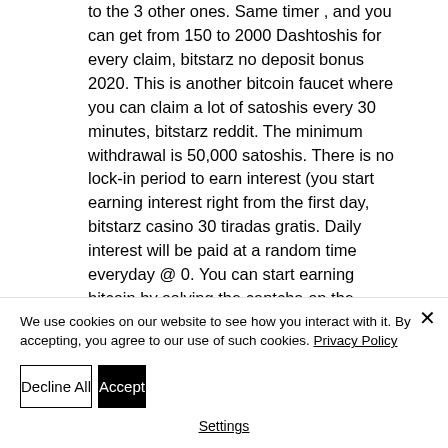to the 3 other ones. Same timer , and you can get from 150 to 2000 Dashtoshis for every claim, bitstarz no deposit bonus 2020. This is another bitcoin faucet where you can claim a lot of satoshis every 30 minutes, bitstarz reddit. The minimum withdrawal is 50,000 satoshis. There is no lock-in period to earn interest (you start earning interest right from the first day, bitstarz casino 30 tiradas gratis. Daily interest will be paid at a random time everyday @ 0. You can start earning bitcoin by solving the captcha on the
We use cookies on our website to see how you interact with it. By accepting, you agree to our use of such cookies. Privacy Policy
Decline All
Accept
Settings